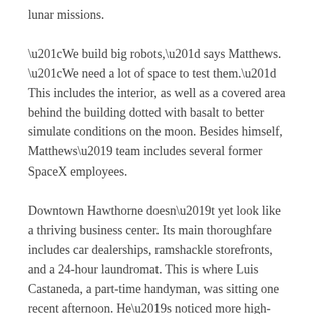lunar missions.
“We build big robots,” says Matthews. “We need a lot of space to test them.” This includes the interior, as well as a covered area behind the building dotted with basalt to better simulate conditions on the moon. Besides himself, Matthews’ team includes several former SpaceX employees.
Downtown Hawthorne doesn’t yet look like a thriving business center. Its main thoroughfare includes car dealerships, ramshackle storefronts, and a 24-hour laundromat. This is where Luis Castaneda, a part-time handyman, was sitting one recent afternoon. He’s noticed more high-end workers in town, he says, and blames them for the rising prices. The room he rents costs $700 a month, he says, compared to $400 for a similar room 10 years ago when he first arrived in the city.